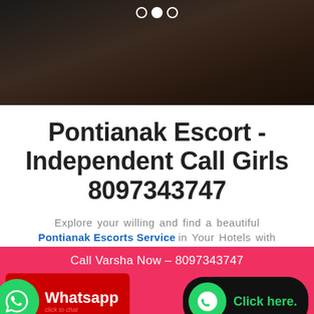[Figure (photo): Dark-toned image of a person, used as a slider/carousel header with navigation dots at the top.]
Pontianak Escort - Independent Call Girls 8097343747
Explore your willing and find a beautiful Pontianak Escorts Service in Your Hotels with
[Figure (infographic): Pink banner with contact info and WhatsApp/call buttons. Call Varsha Now - 8097343747. WhatsApp button and Click here button. WhatsApp To Varsha - 8097343747.]